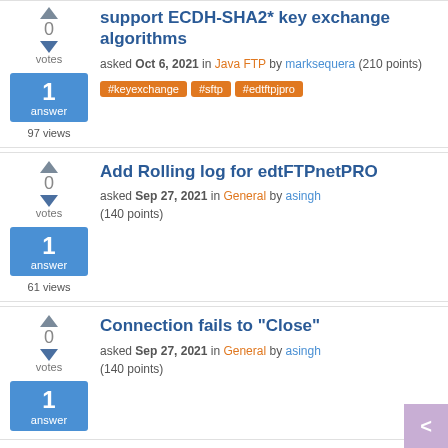support ECDH-SHA2* key exchange algorithms — asked Oct 6, 2021 in Java FTP by marksequera (210 points) — 1 answer, 97 views — tags: #keyexchange #sftp #edtftpjpro
Add Rolling log for edtFTPnetPRO — asked Sep 27, 2021 in General by asingh (140 points) — 1 answer, 61 views
Connection fails to "Close" — asked Sep 27, 2021 in General by asingh (140 points) — 1 answer